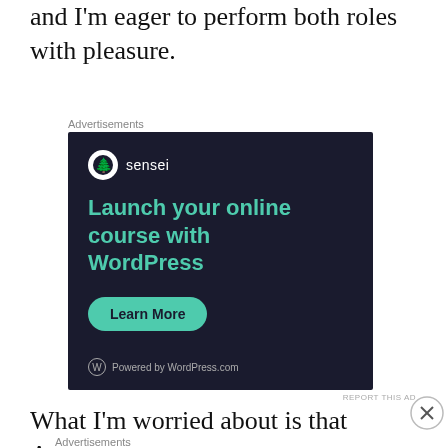and I'm eager to perform both roles with pleasure.
Advertisements
[Figure (other): Advertisement for Sensei/WordPress.com: dark navy background, Sensei logo (tree icon in white circle), text 'Launch your online course with WordPress' in teal, green 'Learn More' button, 'Powered by WordPress.com' footer]
REPORT THIS AD
What I'm worried about is that Antorus was
Advertisements